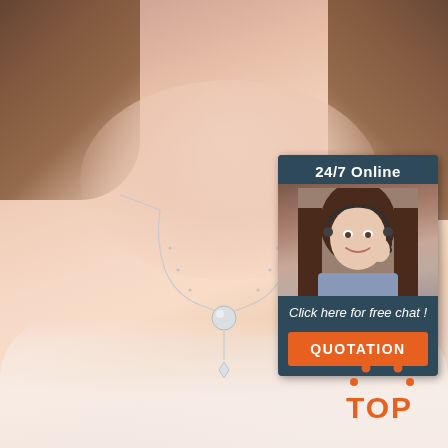[Figure (photo): Close-up product photo of a woman wearing a delicate silver chain necklace with a crystal ball pendant and drop charm, against skin-tone background with white ruffled fabric at bottom]
[Figure (photo): Customer service chat widget overlay in dark teal showing '24/7 Online' header, a smiling female agent with headset, text 'Click here for free chat!' and an orange QUOTATION button]
[Figure (logo): TOP logo with orange dots arranged in triangle above orange 'TOP' text]